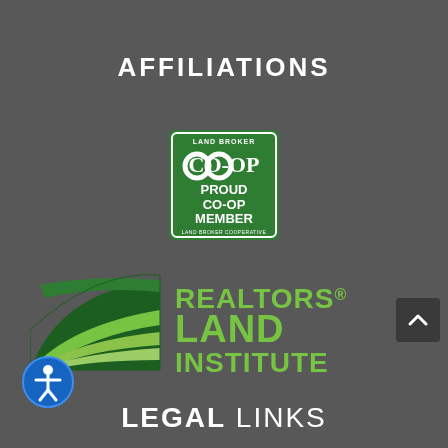AFFILIATIONS
[Figure (logo): Land Broker Cooperative - Proud Co-op Member badge, green square logo]
[Figure (logo): Realtors Land Institute logo with green swoosh graphic and green text]
[Figure (other): Scroll to top button with upward chevron]
[Figure (other): Accessibility button - circular blue icon with person symbol]
LEGAL LINKS